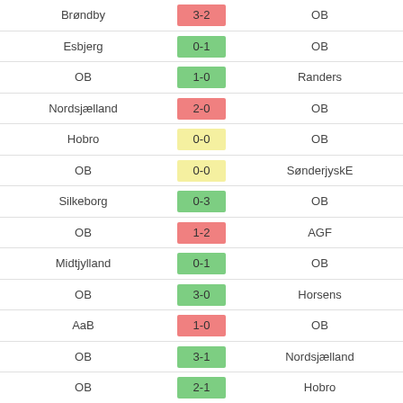| Home | Score | Away |
| --- | --- | --- |
| Brøndby | 3-2 | OB |
| Esbjerg | 0-1 | OB |
| OB | 1-0 | Randers |
| Nordsjælland | 2-0 | OB |
| Hobro | 0-0 | OB |
| OB | 0-0 | SønderjyskE |
| Silkeborg | 0-3 | OB |
| OB | 1-2 | AGF |
| Midtjylland | 0-1 | OB |
| OB | 3-0 | Horsens |
| AaB | 1-0 | OB |
| OB | 3-1 | Nordsjælland |
| OB | 2-1 | Hobro |